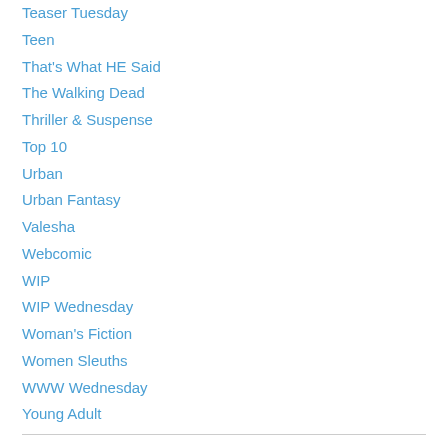Teaser Tuesday
Teen
That's What HE Said
The Walking Dead
Thriller & Suspense
Top 10
Urban
Urban Fantasy
Valesha
Webcomic
WIP
WIP Wednesday
Woman's Fiction
Women Sleuths
WWW Wednesday
Young Adult
Archives
November 2020
July 2020
May 2020